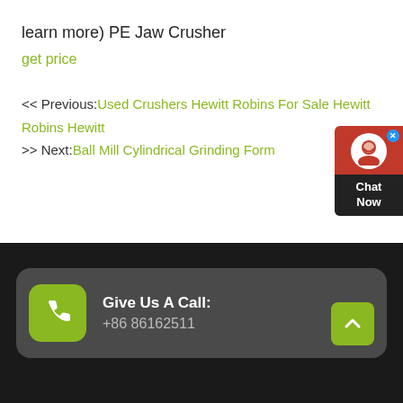learn more) PE Jaw Crusher
get price
<< Previous:Used Crushers Hewitt Robins For Sale Hewitt Robins Hewitt
>> Next:Ball Mill Cylindrical Grinding Form
[Figure (other): Chat Now widget with avatar icon, red background, dark footer label]
Give Us A Call: +86 86162511